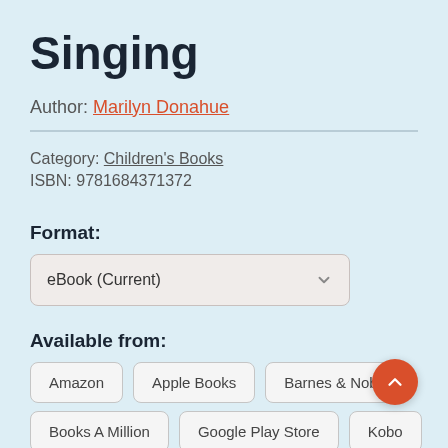Singing
Author: Marilyn Donahue
Category: Children's Books
ISBN: 9781684371372
Format:
eBook (Current)
Available from:
Amazon   Apple Books   Barnes & Noble
Books A Million   Google Play Store   Kobo